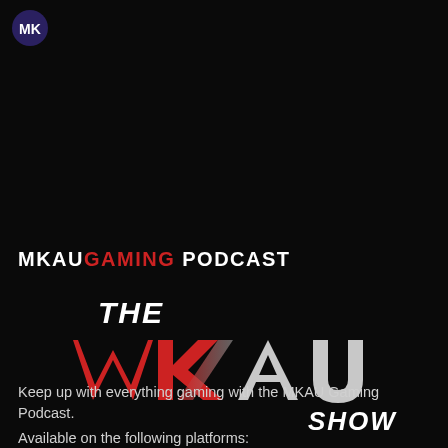[Figure (logo): Small MKAU gaming logo icon in top left corner]
MKAUGAMING PODCAST
[Figure (logo): THE MKAU SHOW stylized logo. 'MK' in large red jagged italic letters, 'AU' in large silver/white letters, 'THE' above in white italic, 'SHOW' below right in white italic.]
Keep up with everything gaming with the MKAU Gaming Podcast.
Available on the following platforms: